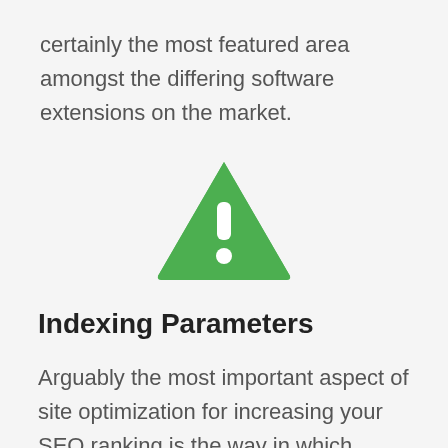certainly the most featured area amongst the differing software extensions on the market.
[Figure (illustration): Green rounded triangle warning/alert icon with a white exclamation mark (bar and dot) in the center.]
Indexing Parameters
Arguably the most important aspect of site optimization for increasing your SEO ranking is the way in which